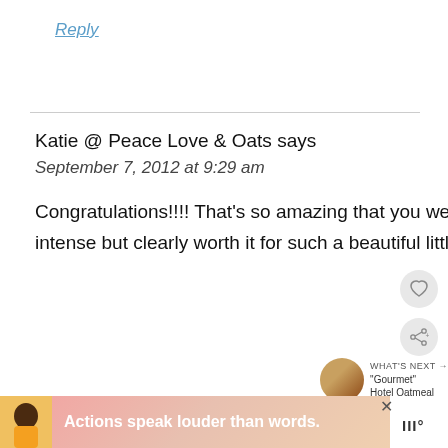Reply
Katie @ Peace Love & Oats says
September 7, 2012 at 9:29 am
Congratulations!!!! That's so amazing that you were able to do a natural birth, it sounds pretty intense but clearly worth it for such a beautiful little boy!
Reply
Actions speak louder than words.